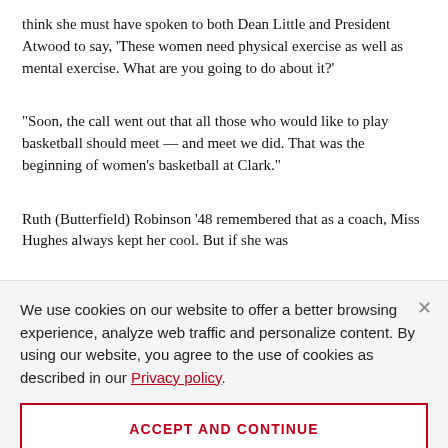think she must have spoken to both Dean Little and President Atwood to say, 'These women need physical exercise as well as mental exercise. What are you going to do about it?'
“Soon, the call went out that all those who would like to play basketball should meet — and meet we did. That was the beginning of women’s basketball at Clark.”
Ruth (Butterfield) Robinson ’48 remembered that as a coach, Miss Hughes always kept her cool. But if she was
We use cookies on our website to offer a better browsing experience, analyze web traffic and personalize content. By using our website, you agree to the use of cookies as described in our Privacy policy.
ACCEPT AND CONTINUE